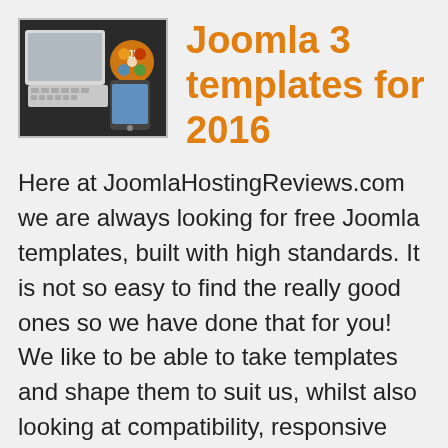[Figure (photo): Photo of a tablet/keyboard with Joomla logo overlaid]
Joomla 3 templates for 2016
Here at JoomlaHostingReviews.com we are always looking for free Joomla templates, built with high standards. It is not so easy to find the really good ones so we have done that for you! We like to be able to take templates and shape them to suit us, whilst also looking at compatibility, responsive cross-device support, good coding practices and much much more. Enjoy our list below and feel free to leave any comments, including